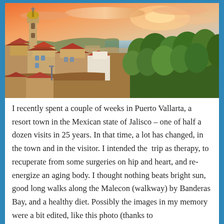[Figure (photo): Aerial/elevated view of Puerto Vallarta, Mexico, showing terracotta-roofed buildings, a church tower on the left, lush green trees on the right, and a dramatic orange-pink sunset sky over the ocean/bay in the background.]
I recently spent a couple of weeks in Puerto Vallarta, a resort town in the Mexican state of Jalisco – one of half a dozen visits in 25 years. In that time, a lot has changed, in the town and in the visitor. I intended the  trip as therapy, to recuperate from some surgeries on hip and heart, and re-energize an aging body. I thought nothing beats bright sun, good long walks along the Malecon (walkway) by Banderas Bay, and a healthy diet. Possibly the images in my memory were a bit edited, like this photo (thanks to